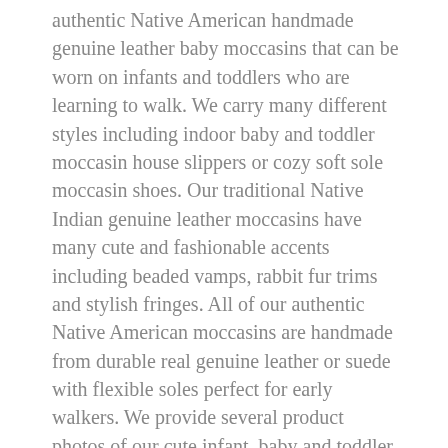authentic Native American handmade genuine leather baby moccasins that can be worn on infants and toddlers who are learning to walk. We carry many different styles including indoor baby and toddler moccasin house slippers or cozy soft sole moccasin shoes. Our traditional Native Indian genuine leather moccasins have many cute and fashionable accents including beaded vamps, rabbit fur trims and stylish fringes. All of our authentic Native American moccasins are handmade from durable real genuine leather or suede with flexible soles perfect for early walkers. We provide several product photos of our cute infant, baby and toddler soft sole moccasins so you can see different angles and the sole materials helping you pick the best pair of moccasin shoes or soft sole house slippers for your needs. We have a secure online checkout and fast economical